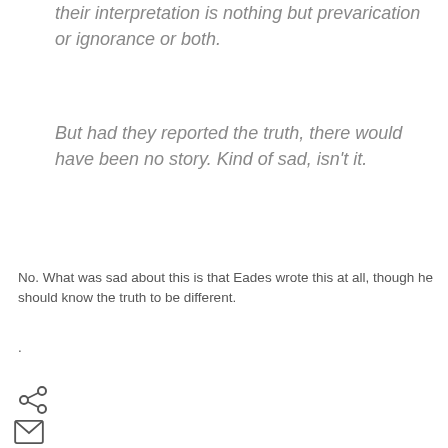their interpretation is nothing but prevarication or ignorance or both.
But had they reported the truth, there would have been no story. Kind of sad, isn't it.
No. What was sad about this is that Eades wrote this at all, though he should know the truth to be different.
.
[Figure (other): Share icon (less-than symbol style)]
[Figure (other): Email/envelope icon]